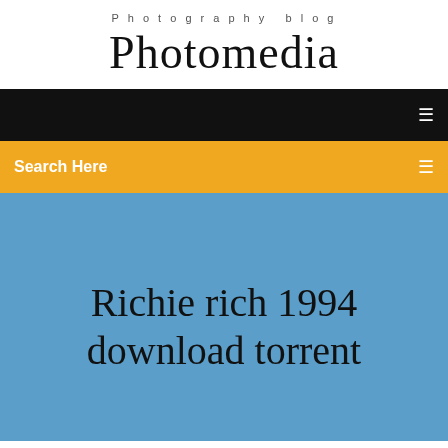Photography blog
Photomedia
Search Here
Richie rich 1994 download torrent